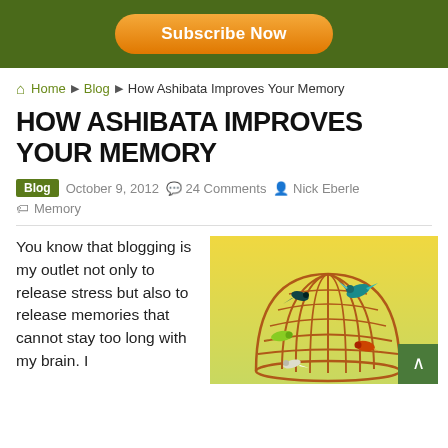Subscribe Now
Home › Blog › How Ashibata Improves Your Memory
HOW ASHIBATA IMPROVES YOUR MEMORY
Blog  October 9, 2012  24 Comments  Nick Eberle  Memory
You know that blogging is my outlet not only to release stress but also to release memories that cannot stay too long with my brain. I
[Figure (illustration): Colorful birds inside a dome-shaped wire cage against a yellow-green background]